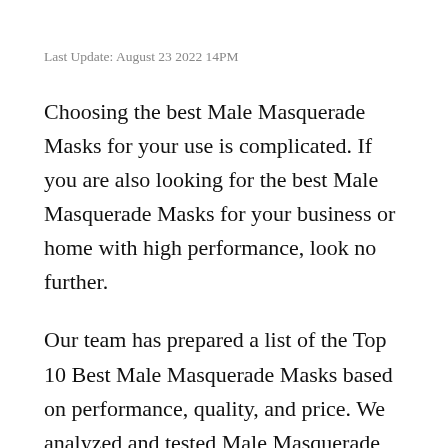Last Update: August 23 2022 14PM
Choosing the best Male Masquerade Masks for your use is complicated. If you are also looking for the best Male Masquerade Masks for your business or home with high performance, look no further.
Our team has prepared a list of the Top 10 Best Male Masquerade Masks based on performance, quality, and price. We analyzed and tested Male Masquerade Masks products of different brands. The